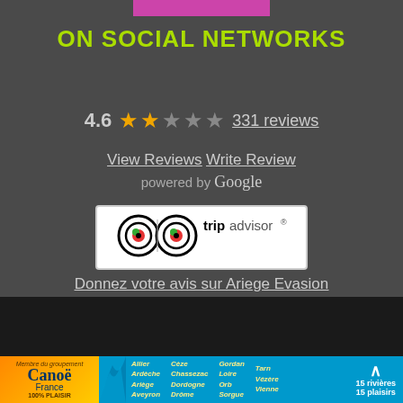[Figure (other): Pink/magenta horizontal bar at top center]
ON SOCIAL NETWORKS
4.6 ★★☆☆☆ 331 reviews
View Reviews  Write Review
powered by Google
[Figure (logo): TripAdvisor logo with owl eyes icon]
Donnez votre avis sur Ariege Evasion
[Figure (logo): Canoë France banner with river names: Allier, Ardèche, Ariège, Aveyron, Cèze, Chassezac, Dordogne, Drôme, Gordan, Loire, Orb, Sorgue, Tarn, Vézère, Vienne — 15 rivières 15 plaisirs]